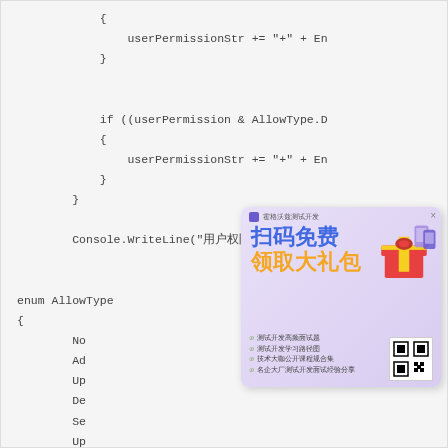[Figure (screenshot): Code editor screenshot showing C# code with curly braces, if statement checking userPermission & AllowType.D, userPermissionStr += '+' + En, closing braces, Console.WriteLine with Chinese characters + userP, and enum AllowType block with partially visible enum values (No, Ad, Up, De, Se, Up, Do, Ed), overlaid by an advertisement banner in Chinese for a software testing course offering free resources via QR code scan.]